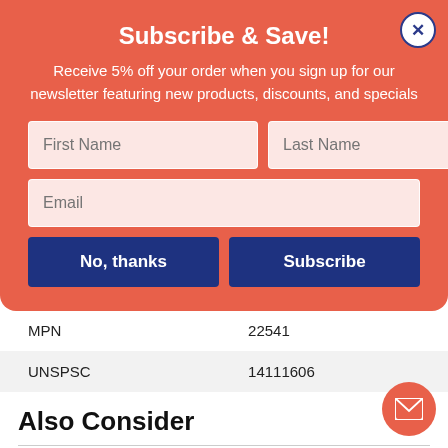Subscribe & Save!
Receive 5% off your order when you sign up for our newsletter featuring new products, discounts, and specials
[Figure (screenshot): Web form popup with First Name, Last Name, and Email input fields, and two buttons: No, thanks and Subscribe]
| MPN | 22541 |
| UNSPSC | 14111606 |
Also Consider
Color Paper, 24 lb Bond Weight, 8.5 x 11, Blast-Off Blue, 500/Ream